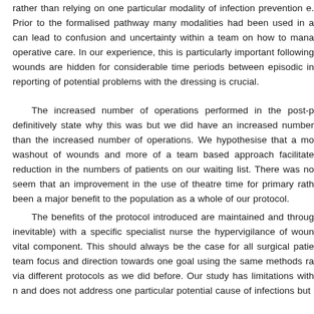rather than relying on one particular modality of infection prevention e. Prior to the formalised pathway many modalities had been used in a can lead to confusion and uncertainty within a team on how to mana operative care. In our experience, this is particularly important following wounds are hidden for considerable time periods between episodic in reporting of potential problems with the dressing is crucial.
The increased number of operations performed in the post-p definitively state why this was but we did have an increased number than the increased number of operations. We hypothesise that a mo washout of wounds and more of a team based approach facilitate reduction in the numbers of patients on our waiting list. There was no seem that an improvement in the use of theatre time for primary rath been a major benefit to the population as a whole of our protocol.
The benefits of the protocol introduced are maintained and throug inevitable) with a specific specialist nurse the hypervigilance of woun vital component. This should always be the case for all surgical patie team focus and direction towards one goal using the same methods ra via different protocols as we did before. Our study has limitations with n and does not address one particular potential cause of infections but